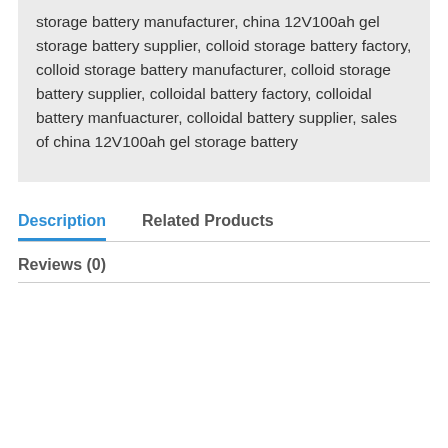storage battery manufacturer, china 12V100ah gel storage battery supplier, colloid storage battery factory, colloid storage battery manufacturer, colloid storage battery supplier, colloidal battery factory, colloidal battery manfuacturer, colloidal battery supplier, sales of china 12V100ah gel storage battery
Description
Related Products
Reviews (0)